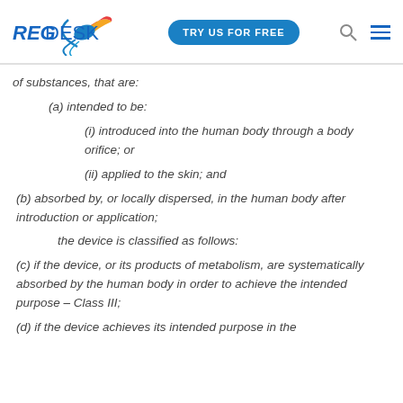REGDESK | TRY US FOR FREE
of substances, that are:
(a) intended to be:
(i) introduced into the human body through a body orifice; or
(ii) applied to the skin; and
(b) absorbed by, or locally dispersed, in the human body after introduction or application;
the device is classified as follows:
(c) if the device, or its products of metabolism, are systematically absorbed by the human body in order to achieve the intended purpose – Class III;
(d) if the device achieves its intended purpose in the